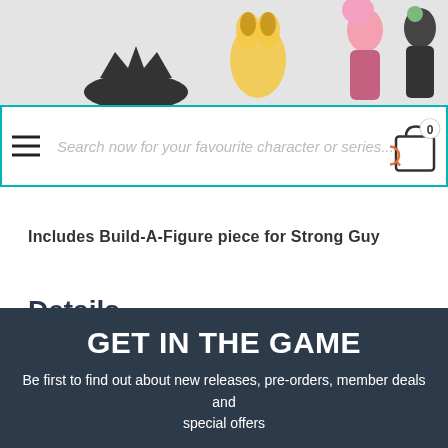[Figure (screenshot): Website header with anime/game figurines (Pikachu, pink-haired female figure, dark-haired figure) on a light grey background, with a logo crown icon on the left]
[Figure (screenshot): Search bar overlay with hamburger menu icon on left, placeholder text 'Search now for your favourite character or series...', and shopping cart icon with badge '0' on the right, surrounded by teal border]
Includes Build-A-Figure piece for Strong Guy
Details
GET IN THE GAME
Be first to find out about new releases, pre-orders, member deals and special offers